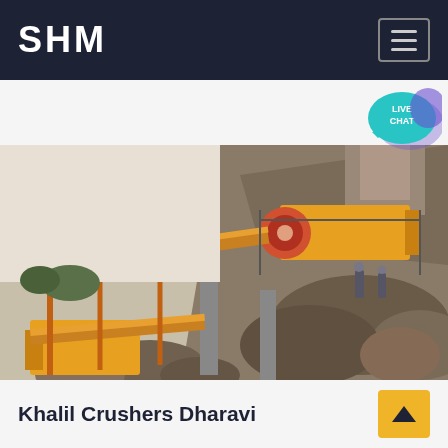SHM
[Figure (photo): Industrial stone crusher plant on a rocky hillside with yellow crushing machinery, conveyor belts, and workers visible in the background.]
Khalil Crushers Dharavi